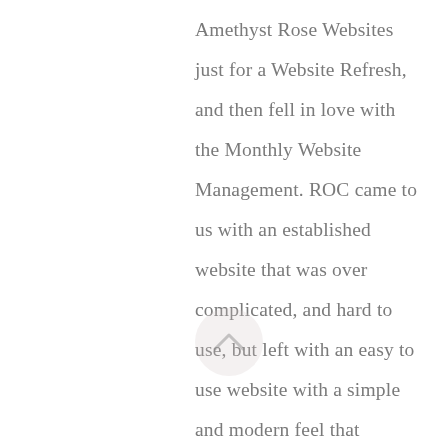Amethyst Rose Websites just for a Website Refresh, and then fell in love with the Monthly Website Management. ROC came to us with an established website that was over complicated, and hard to use, but left with an easy to use website with a simple and modern feel that ensured that customers left with a great shopping experience. After receiving the final website, ROC decided that the Monthly Website Management would allow the owner to focus on the important thing in her business, and not spend as much time worrying about uploading products for her